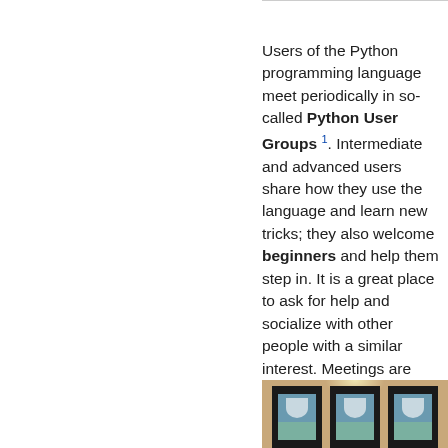Users of the Python programming language meet periodically in so-called Python User Groups 1. Intermediate and advanced users share how they use the language and learn new tricks; they also welcome beginners and help them step in. It is a great place to ask for help and socialize with other people with a similar interest. Meetings are usually once every month, they are very informal and open to everyone.
[Figure (photo): Bottom strip showing framed pictures/artwork hanging on a warm tan/brown wall with spotlights illuminating them]